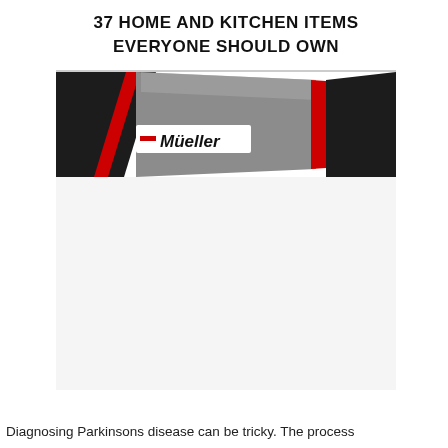[Figure (photo): Product advertisement image showing a kitchen/home item (appears to be a Mueller brand food processor or kitchen appliance). Top banner reads '37 HOME AND KITCHEN ITEMS EVERYONE SHOULD OWN' in bold black text. Below shows a dark-handled product with red and gray accents, with the Mueller brand logo visible. Lower portion of the image is mostly white/light gray.]
Diagnosing Parkinsons disease can be tricky. The process